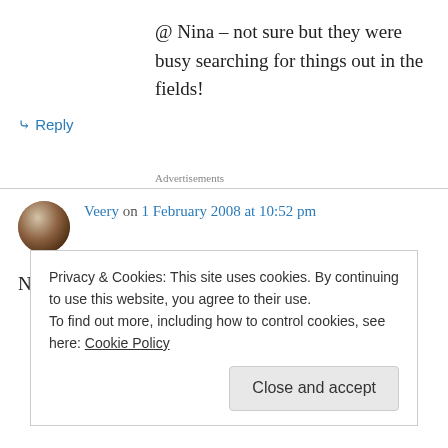@ Nina – not sure but they were busy searching for things out in the fields!
↳ Reply
Advertisements
Veery on 1 February 2008 at 10:52 pm
Nice video! I love Short-eared Owls, they are so
Privacy & Cookies: This site uses cookies. By continuing to use this website, you agree to their use.
To find out more, including how to control cookies, see here: Cookie Policy